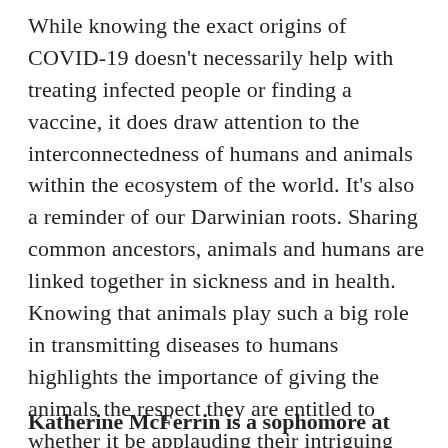While knowing the exact origins of COVID-19 doesn't necessarily help with treating infected people or finding a vaccine, it does draw attention to the interconnectedness of humans and animals within the ecosystem of the world. It's also a reminder of our Darwinian roots. Sharing common ancestors, animals and humans are linked together in sickness and in health. Knowing that animals play such a big role in transmitting diseases to humans highlights the importance of giving the animals the respect they are entitled to whether it be applauding their intriguing immune systems or simply giving them the space they deserve. After all, we humans may be better off for doing just that.
Katherine McFerrin is a sophomore at